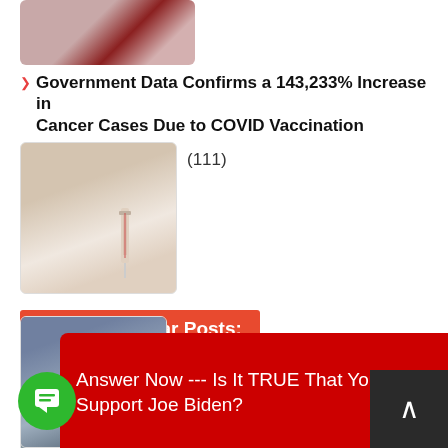[Figure (photo): Top thumbnail image - collage of faces/people]
Government Data Confirms a 143,233% Increase in Cancer Cases Due to COVID Vaccination (111)
[Figure (photo): Thumbnail showing hand holding syringe/needle]
Overall Popular Posts:
Rick Warren Scandal ..."Purpose Driven Life" Pastor Steps Down – Church Calls for... June 8, 2021 (28,666)
[Figure (photo): Thumbnail showing a bald man with glasses smiling]
'The Rape of Britain' – Exclusive Interview with T... ...adio J...
[Figure (photo): Thumbnail showing a young man's face]
[Figure (screenshot): Red popup overlay: Answer Now --- Is It TRUE That You Support Joe Biden?]